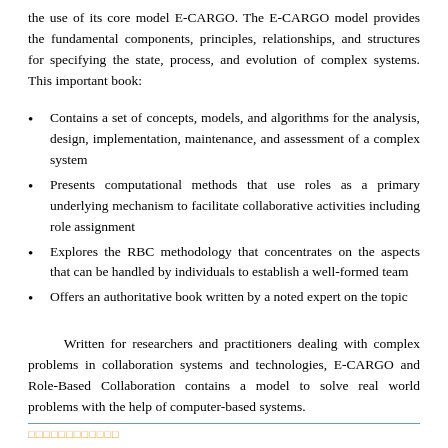the use of its core model E-CARGO. The E-CARGO model provides the fundamental components, principles, relationships, and structures for specifying the state, process, and evolution of complex systems. This important book:
Contains a set of concepts, models, and algorithms for the analysis, design, implementation, maintenance, and assessment of a complex system
Presents computational methods that use roles as a primary underlying mechanism to facilitate collaborative activities including role assignment
Explores the RBC methodology that concentrates on the aspects that can be handled by individuals to establish a well-formed team
Offers an authoritative book written by a noted expert on the topic
Written for researchers and practitioners dealing with complex problems in collaboration systems and technologies, E-CARGO and Role-Based Collaboration contains a model to solve real world problems with the help of computer-based systems.
□□□□□□□□□□□□